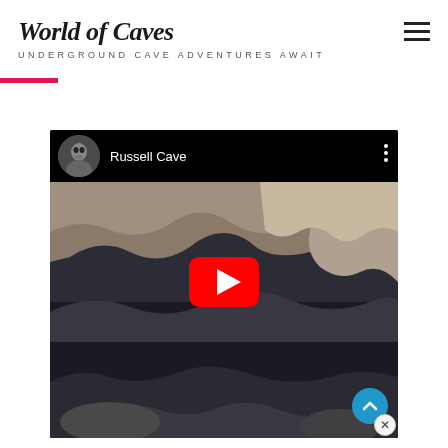World of Caves
UNDERGROUND CAVE ADVENTURES AWAIT
cave.
[Figure (screenshot): YouTube video embed showing Russell Cave with dark cave interior, YouTube play button overlay, video thumbnail of person in top-left, title 'Russell Cave', and three-dot menu icon.]